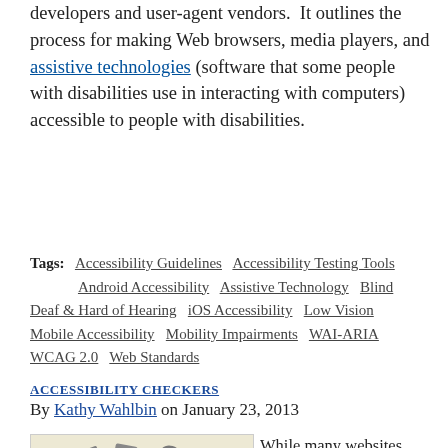developers and user-agent vendors.  It outlines the process for making Web browsers, media players, and assistive technologies (software that some people with disabilities use in interacting with computers) accessible to people with disabilities.
Tags: Accessibility Guidelines  Accessibility Testing Tools  Android Accessibility  Assistive Technology  Blind  Deaf & Hard of Hearing  iOS Accessibility  Low Vision  Mobile Accessibility  Mobility Impairments  WAI-ARIA  WCAG 2.0  Web Standards
ACCESSIBILITY CHECKERS
By Kathy Wahlbin on January 23, 2013
[Figure (photo): A wooden toolbox containing metallic tools such as hammers and other implements, photographed on a white background.]
While many websites claim Section 508 or WCAG conformance based on the evaluation of a tool, the truth is that